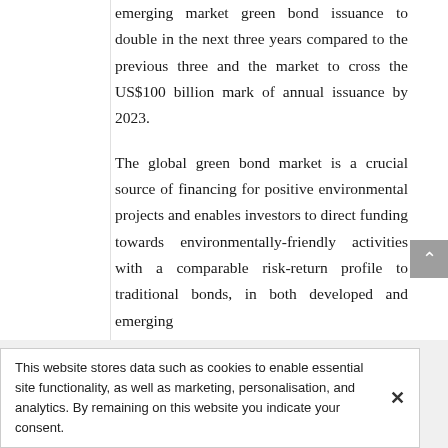emerging market green bond issuance to double in the next three years compared to the previous three and the market to cross the US$100 billion mark of annual issuance by 2023.
The global green bond market is a crucial source of financing for positive environmental projects and enables investors to direct funding towards environmentally-friendly activities with a comparable risk-return profile to traditional bonds, in both developed and emerging
This website stores data such as cookies to enable essential site functionality, as well as marketing, personalisation, and analytics. By remaining on this website you indicate your consent.